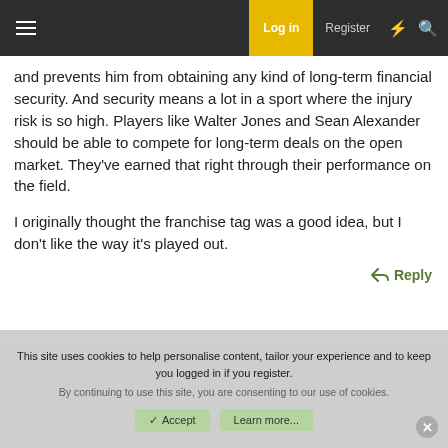Log in  Register
and prevents him from obtaining any kind of long-term financial security. And security means a lot in a sport where the injury risk is so high. Players like Walter Jones and Sean Alexander should be able to compete for long-term deals on the open market. They've earned that right through their performance on the field.

I originally thought the franchise tag was a good idea, but I don't like the way it's played out.
↩ Reply
This site uses cookies to help personalise content, tailor your experience and to keep you logged in if you register.
By continuing to use this site, you are consenting to our use of cookies.